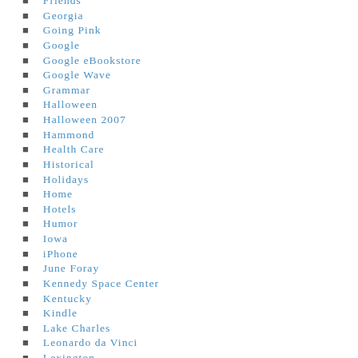Friends
Georgia
Going Pink
Google
Google eBookstore
Google Wave
Grammar
Halloween
Halloween 2007
Hammond
Health Care
Historical
Holidays
Home
Hotels
Humor
Iowa
iPhone
June Foray
Kennedy Space Center
Kentucky
Kindle
Lake Charles
Leonardo da Vinci
Lexington
Libraries